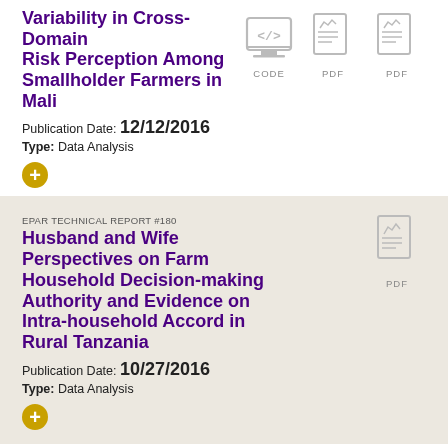Variability in Cross-Domain Risk Perception Among Smallholder Farmers in Mali
Publication Date: 12/12/2016
Type: Data Analysis
[Figure (other): Three icons: CODE (computer monitor with code), PDF (chart document), PDF (chart document)]
EPAR TECHNICAL REPORT #180
Husband and Wife Perspectives on Farm Household Decision-making Authority and Evidence on Intra-household Accord in Rural Tanzania
Publication Date: 10/27/2016
Type: Data Analysis
[Figure (other): One icon: PDF (chart document)]
EPAR RESEARCH BRIEF #205